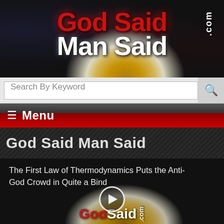[Figure (screenshot): GodSaidManSaid.com website header banner with red and white logo text on dark background with golden glow effect]
Search By Keyword
≡  Menu
God Said Man Said
[Figure (screenshot): Video thumbnail with text: The First Law of Thermodynamics Puts the Anti-God Crowd in Quite a Bind, with GodSaidManSaid.com logo and play button overlay]